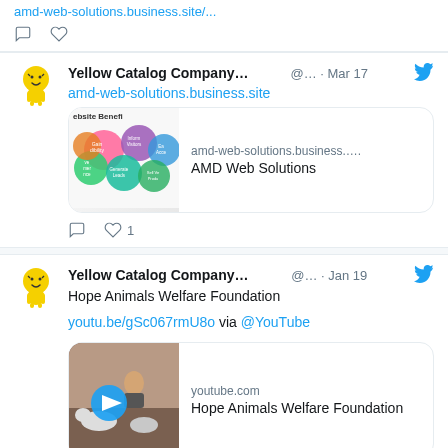amd-web-solutions.business.site/... (partial link at top)
Yellow Catalog Company... @... · Mar 17
amd-web-solutions.business.site
[Figure (screenshot): AMD web solutions website benefits infographic card with colorful circles]
♡ 1 (like count)
Yellow Catalog Company... @... · Jan 19
Hope Animals Welfare Foundation
youtu.be/gSc067rmU8o via @YouTube
[Figure (screenshot): YouTube video card for Hope Animals Welfare Foundation showing a person with animals and a play button]